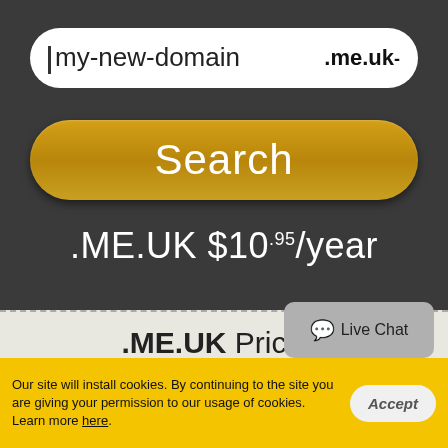[Figure (screenshot): Domain search input field showing 'my-new-domain' text with '.me.uk-' TLD selector on dark background]
[Figure (screenshot): Yellow 'Search' button with rounded corners on dark background]
.ME.UK $10.95/year
.ME.UK Pricing
Live Chat
Our site will install cookies. By continuing to the site you are giving your permission to our usage of cookies. Learn more here.